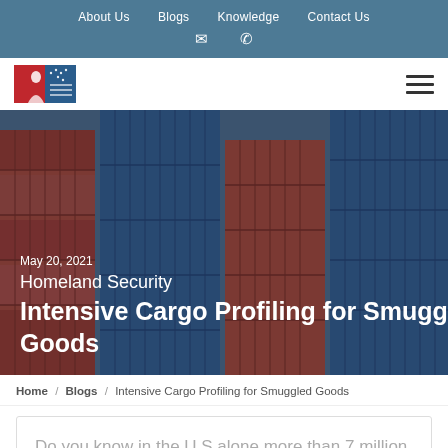About Us | Blogs | Knowledge | Contact Us
[Figure (logo): Company logo with blue and red flag/person graphic]
[Figure (photo): Stacked shipping containers in red and blue colors at a port]
May 20, 2021
Homeland Security
Intensive Cargo Profiling for Smuggled Goods
Home / Blogs / Intensive Cargo Profiling for Smuggled Goods
Do you know in the U.S alone more than 7 million